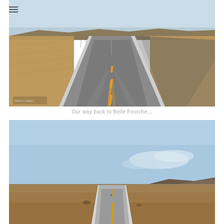[Figure (photo): A straight two-lane highway stretching into the horizon across flat golden prairie grasslands under a pale blue sky, viewed from driver's perspective with yellow center line and white edge lines visible, taken in Belle Fourche area of South Dakota.]
Our way back to Belle Fourche...
[Figure (photo): A straight two-lane highway stretching into the distance across flat brown prairie landscape under a wide pale blue sky with light clouds and mesa formations visible on the horizon.]